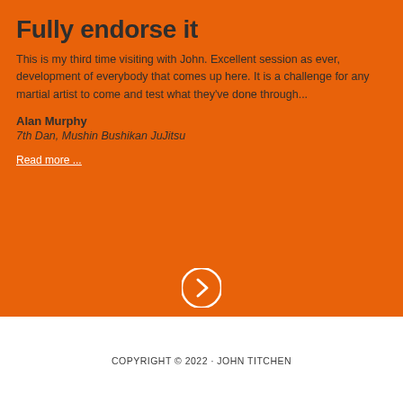Fully endorse it
This is my third time visiting with John. Excellent session as ever, development of everybody that comes up here. It is a challenge for any martial artist to come and test what they've done through...
Alan Murphy
7th Dan, Mushin Bushikan JuJitsu
Read more ...
[Figure (other): Orange circle with a right-pointing chevron arrow icon, used as a navigation button]
COPYRIGHT © 2022 · JOHN TITCHEN